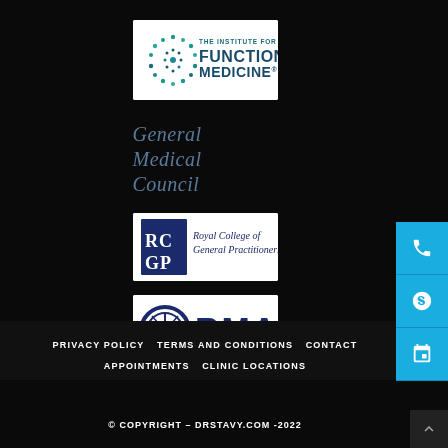[Figure (logo): The Institute for Functional Medicine logo - circular molecular pattern in teal/dark blue with text 'THE INSTITUTE FOR FUNCTIONAL MEDICINE' on white background]
[Figure (logo): General Medical Council text logo in steel blue italic serif font on dark background]
[Figure (logo): Royal College of General Practitioners (RCGP) logo with blue square monogram and text on white background]
[Figure (logo): BMA (British Medical Association) logo with circular emblem and bold text on white background]
PRIVACY POLICY   TERMS AND CONDITIONS   CONTACT   APPOINTMENTS   CLINIC LOCATIONS
© COPYRIGHT – DRSTAVY.COM -2022